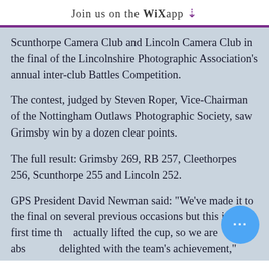Join us on the WiX app ⬇
Scunthorpe Camera Club and Lincoln Camera Club in the final of the Lincolnshire Photographic Association's annual inter-club Battles Competition.
The contest, judged by Steven Roper, Vice-Chairman of the Nottingham Outlaws Photographic Society, saw Grimsby win by a dozen clear points.
The full result: Grimsby 269, RB 257, Cleethorpes 256, Scunthorpe 255 and Lincoln 252.
GPS President David Newman said: "We've made it to the final on several previous occasions but this is the first time that actually lifted the cup, so we are absolutely delighted with the team's achievement,"